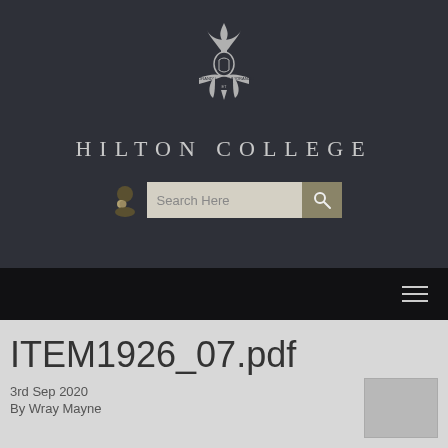[Figure (logo): Hilton College crest — fleur-de-lis with torch and banners reading ORANDO ET LABORANDO]
HILTON COLLEGE
[Figure (screenshot): Search bar with trophy icon, text input showing 'Search Here', and a search button with magnifying glass icon]
[Figure (screenshot): Dark navigation bar with hamburger menu icon on the right]
ITEM1926_07.pdf
3rd Sep 2020
By Wray Mayne